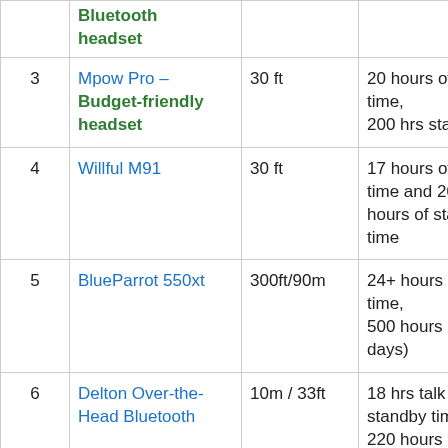| # | Product | Range | Battery |
| --- | --- | --- | --- |
|  | Bluetooth headset |  |  |
| 3 | Mpow Pro – Budget-friendly headset | 30 ft | 20 hours of talk time, 200 hrs standby |
| 4 | Willful M91 | 30 ft | 17 hours of talk time and 200 hours of standby time |
| 5 | BlueParrot 550xt | 300ft/90m | 24+ hours talk time, 500 hours (20 days) |
| 6 | Delton Over-the-Head Bluetooth | 10m / 33ft | 18 hrs talk time, standby time of 220 hours |